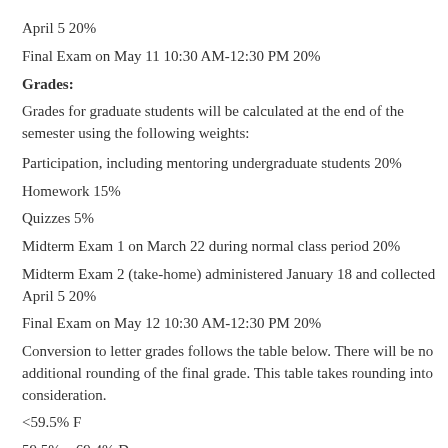April 5 20%
Final Exam on May 11 10:30 AM-12:30 PM 20%
Grades:
Grades for graduate students will be calculated at the end of the semester using the following weights:
Participation, including mentoring undergraduate students 20%
Homework 15%
Quizzes 5%
Midterm Exam 1 on March 22 during normal class period 20%
Midterm Exam 2 (take-home) administered January 18 and collected April 5 20%
Final Exam on May 12 10:30 AM-12:30 PM 20%
Conversion to letter grades follows the table below. There will be no additional rounding of the final grade. This table takes rounding into consideration.
<59.5% F
59.5% – 69.4% D